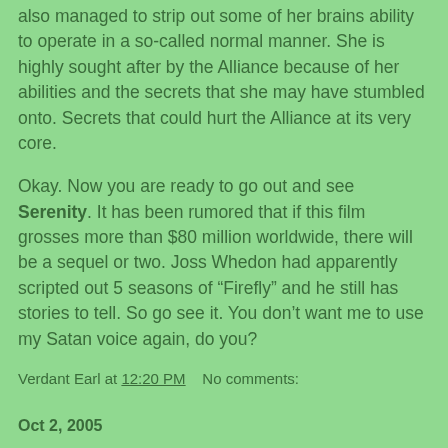also managed to strip out some of her brains ability to operate in a so-called normal manner. She is highly sought after by the Alliance because of her abilities and the secrets that she may have stumbled onto. Secrets that could hurt the Alliance at its very core.
Okay. Now you are ready to go out and see Serenity. It has been rumored that if this film grosses more than $80 million worldwide, there will be a sequel or two. Joss Whedon had apparently scripted out 5 seasons of “Firefly” and he still has stories to tell. So go see it. You don’t want me to use my Satan voice again, do you?
Verdant Earl at 12:20 PM   No comments:
Oct 2, 2005
Oh, the HORROR of it all!
by B.E. Earl